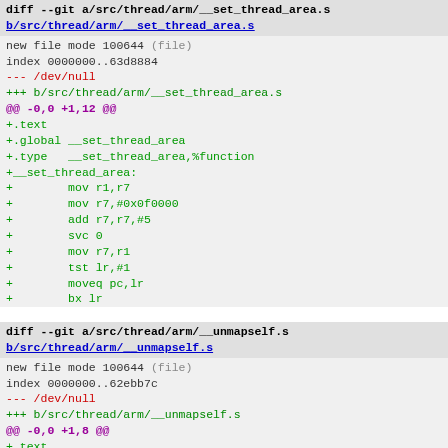diff --git a/src/thread/arm/__set_thread_area.s b/src/thread/arm/__set_thread_area.s
new file mode 100644 (file)
index 0000000..63d8884
--- /dev/null
+++ b/src/thread/arm/__set_thread_area.s
@@ -0,0 +1,12 @@
+.text
+.global __set_thread_area
+.type   __set_thread_area,%function
+__set_thread_area:
+        mov r1,r7
+        mov r7,#0x0f0000
+        add r7,r7,#5
+        svc 0
+        mov r7,r1
+        tst lr,#1
+        moveq pc,lr
+        bx lr
diff --git a/src/thread/arm/__unmapself.s b/src/thread/arm/__unmapself.s
new file mode 100644 (file)
index 0000000..62ebb7c
--- /dev/null
+++ b/src/thread/arm/__unmapself.s
@@ -0,0 +1,8 @@
+.text
+.global __unmapself
+.type   __unmapself,%function
+__unmapself:
+        mov r7,#91